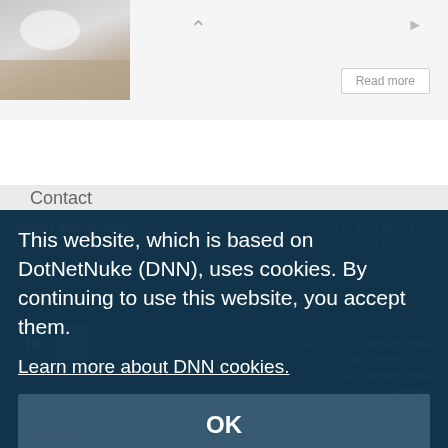[Figure (screenshot): Top navigation bar with thumbnail image on left, chevron up icon in center, right arrow on far right, and a 'Read more' button]
Contact
[Figure (screenshot): Dark blue contact information panel with Student Administration and Lodge phone numbers, social media icons, and NATO School Oberammergau address]
This website, which is based on DotNetNuke (DNN), uses cookies. By continuing to use this website, you accept them.
Learn more about DNN cookies.
OK
Legal